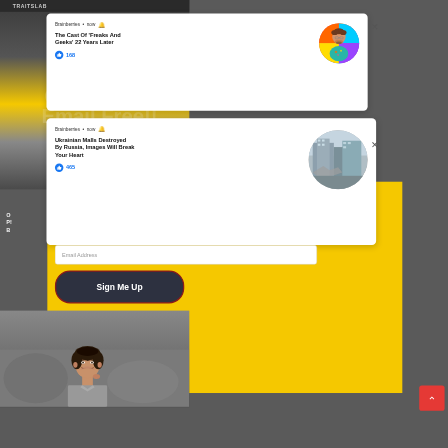TRAITSLAB
[Figure (screenshot): Notification card 1: Brainberries source, 'now' timestamp with bell icon, title 'The Cast Of Freaks And Geeks 22 Years Later', 168 likes, circular avatar of curly-haired man with colorful background, X close button]
[Figure (screenshot): Notification card 2: Brainberries source, 'now' timestamp with bell icon, title 'Ukrainian Malls Destroyed By Russia, Images Will Break Your Heart', 465 likes, circular thumbnail of destroyed building, X close button]
Open Heavenly
Email Free!!
Email Address
Sign Me Up
[Figure (photo): Bottom portion showing smiling man with dark hair, blurred background]
[Figure (other): Red scroll-to-top button with upward chevron arrow in bottom right corner]